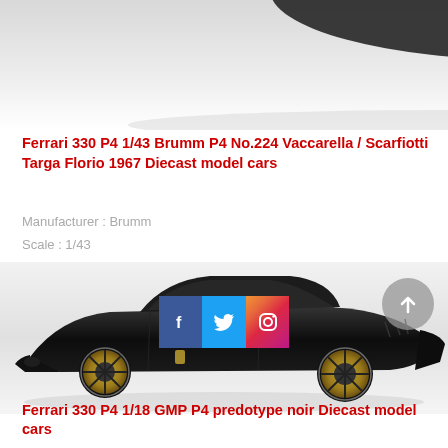[Figure (photo): Partial top view of a diecast model car on white/grey background, cropped at top of page]
Ferrari 330 P4 1/43 Brumm P4 No.224 Vaccarella / Scarfiotti Targa Florio 1967 Diecast model cars
Manufacturer : Brumm
Scale : 1/43
[Figure (photo): Black Ferrari 330 P4 1/18 GMP P4 predotype noir diecast model car on grey/white background, side view showing gold wheels and Ferrari badge]
Ferrari 330 P4 1/18 GMP P4 predotype noir Diecast model cars